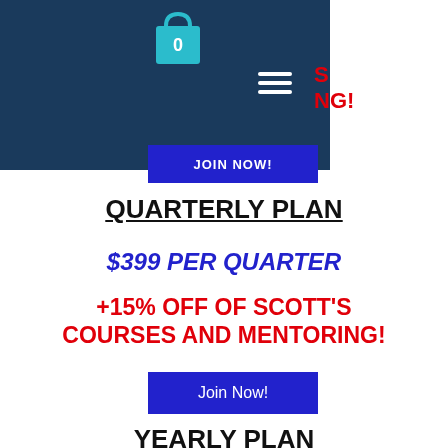[Figure (screenshot): Dark navy navigation bar with a shopping cart icon showing 0 items and a hamburger menu icon]
NG!
JOIN NOW!
QUARTERLY PLAN
$399 PER QUARTER
+15% OFF OF SCOTT'S COURSES AND MENTORING!
Join Now!
YEARLY PLAN